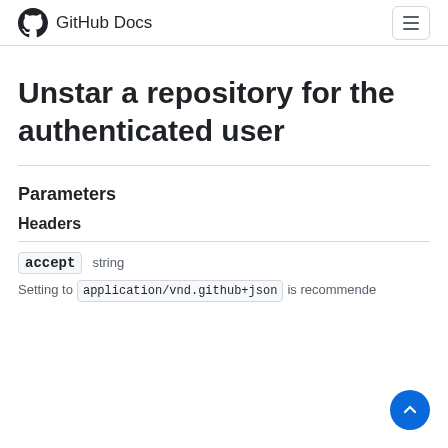GitHub Docs
Unstar a repository for the authenticated user
Parameters
Headers
accept   string
Setting to application/vnd.github+json is recommended